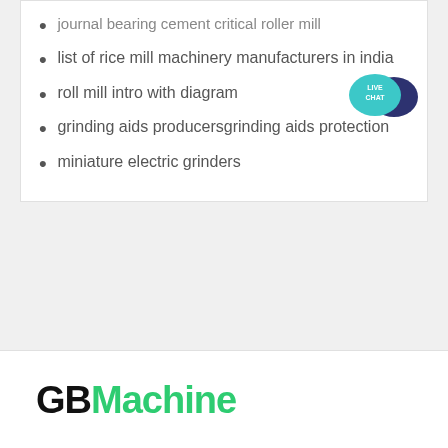journal bearing cement critical roller mill
list of rice mill machinery manufacturers in india
roll mill intro with diagram
grinding aids producersgrinding aids protection
miniature electric grinders
[Figure (illustration): Live chat speech bubble icon with teal/dark blue colors and white text 'LIVE CHAT']
GBMachine